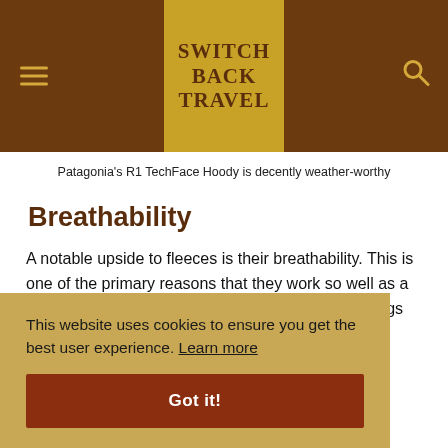SWITCH BACK TRAVEL
Patagonia's R1 TechFace Hoody is decently weather-worthy
Breathability
A notable upside to fleeces is their breathability. This is one of the primary reasons that they work so well as a midlayer, and it also contributes to their shortcomings as
While these styles offer more protection against the
This website uses cookies to ensure you get the best user experience. Learn more Got it!